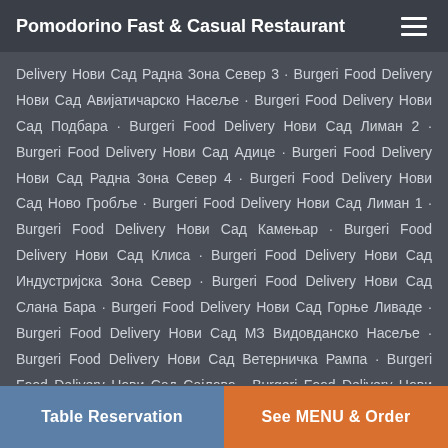Pomodorino Fast & Casual Restaurant
Delivery Нови Сад Радна Зона Север 3 · Burgeri Food Delivery Нови Сад Авијатичарско Насеље · Burgeri Food Delivery Нови Сад Подбара · Burgeri Food Delivery Нови Сад Лиман 2 · Burgeri Food Delivery Нови Сад Адице · Burgeri Food Delivery Нови Сад Радна Зона Север 4 · Burgeri Food Delivery Нови Сад Ново Гробље · Burgeri Food Delivery Нови Сад Лиман 1 · Burgeri Food Delivery Нови Сад Камењар · Burgeri Food Delivery Нови Сад Клиса · Burgeri Food Delivery Нови Сад Индустријска Зона Север · Burgeri Food Delivery Нови Сад Слана Бара · Burgeri Food Delivery Нови Сад Горње Ливаде · Burgeri Food Delivery Нови Сад МЗ Видовданско Насеље · Burgeri Food Delivery Нови Сад Ветерничка Рампа · Burgeri Food Delivery Нови Сад Сајлово · Burgeri Food Delivery Нови Сад Бангладеш · Burgeri Food Delivery Нови Сад · Burgeri Food Delivery Novi Sad · Burgeri Food Delivery Сремска Каменица Татарско Брдо · Burgeri Food Delivery Сремска
Table Reservation | See MENU & Order